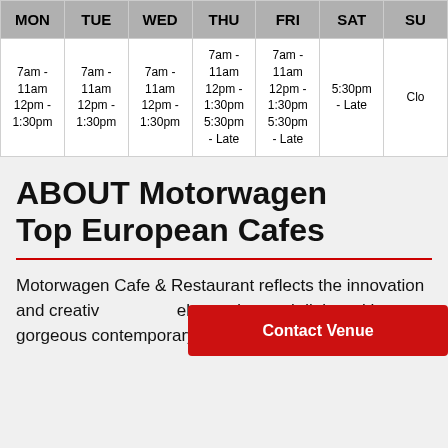| MON | TUE | WED | THU | FRI | SAT | SU |
| --- | --- | --- | --- | --- | --- | --- |
| 7am - 11am 12pm - 1:30pm | 7am - 11am 12pm - 1:30pm | 7am - 11am 12pm - 1:30pm | 7am - 11am 12pm - 1:30pm 5:30pm - Late | 7am - 11am 12pm - 1:30pm 5:30pm - Late | 5:30pm - Late | Clo |
ABOUT Motorwagen Top European Cafes
Motorwagen Cafe & Restaurant reflects the innovation and creativ... elevated causal dining with gorgeous contemporary designer interiors. Open